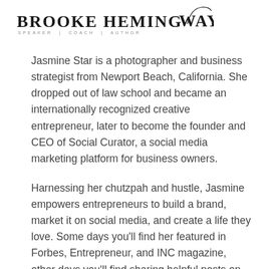BROOKE HEMINGWAY SPEAKER | COACH | AUTHOR
Jasmine Star is a photographer and business strategist from Newport Beach, California. She dropped out of law school and became an internationally recognized creative entrepreneur, later to become the founder and CEO of Social Curator, a social media marketing platform for business owners.
Harnessing her chutzpah and hustle, Jasmine empowers entrepreneurs to build a brand, market it on social media, and create a life they love. Some days you'll find her featured in Forbes, Entrepreneur, and INC magazine, other days you'll find sharing helpful posts on social media to empower, or